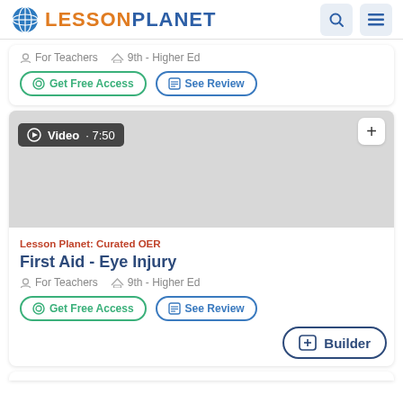Lesson Planet
For Teachers  9th - Higher Ed
Get Free Access  See Review
[Figure (screenshot): Video thumbnail placeholder showing a dark badge 'Video· 7:50' and a plus button in a light grey card area]
Lesson Planet: Curated OER
First Aid - Eye Injury
For Teachers  9th - Higher Ed
Get Free Access  See Review
Builder